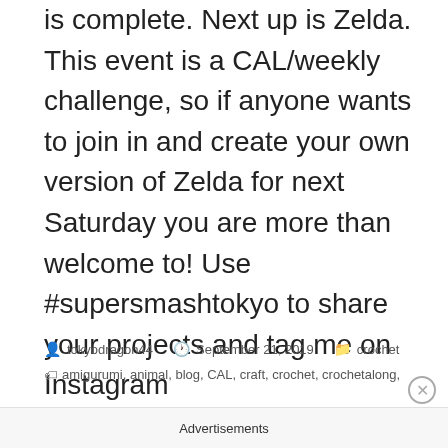is complete. Next up is Zelda. This event is a CAL/weekly challenge, so if anyone wants to join in and create your own version of Zelda for next Saturday you are more than welcome to! Use #supersmashtokyo to share your projects and tag me on Instagram @tokyodragon.crochet
tokyodragon44   September 21, 2019   crochet   amigurumi, animal, blog, CAL, craft, crochet, crochetalong,
Advertisements